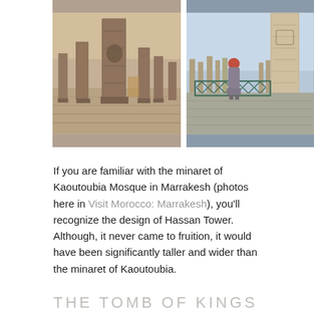[Figure (photo): Two side-by-side photographs. Left: ancient stone columns/pillars in warm sepia tones, likely ruins of an unfinished mosque, stone paved ground. Right: a person in traditional gray robe and red headscarf standing near ornate green metal railing, with Hassan Tower and column ruins visible in background.]
If you are familiar with the minaret of Kaoutoubia Mosque in Marrakesh (photos here in Visit Morocco: Marrakesh), you'll recognize the design of Hassan Tower. Although, it never came to fruition, it would have been significantly taller and wider than the minaret of Kaoutoubia.
THE TOMB OF KINGS